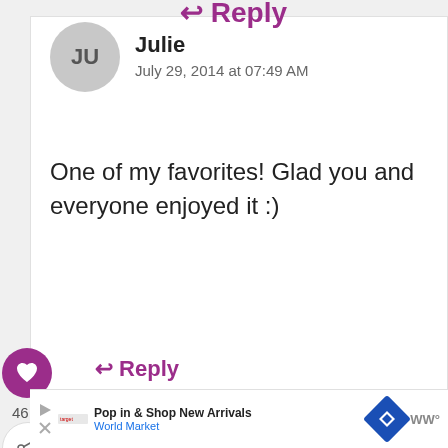Julie
July 29, 2014 at 07:49 AM
One of my favorites! Glad you and everyone enjoyed it :)
↩ Reply
46
ynna
August 10, 2013 at 03:37 PM
WHAT'S NEXT → Blackberry Cake with...
Pop in & Shop New Arrivals World Market